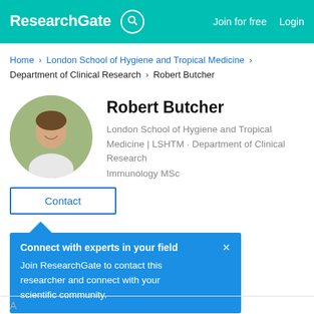ResearchGate  Join for free  Login
Home > London School of Hygiene and Tropical Medicine > Department of Clinical Research > Robert Butcher
[Figure (photo): Circular profile photo of Robert Butcher, a young man smiling outdoors with green background]
Robert Butcher
London School of Hygiene and Tropical Medicine | LSHTM · Department of Clinical Research
Immunology MSc
Contact
Connect with experts in your field ×
Join ResearchGate to contact this researcher and connect with your scientific community.